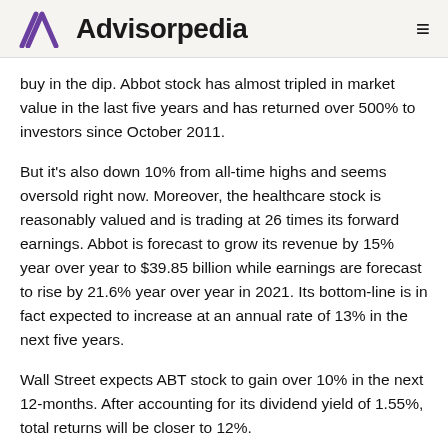Advisorpedia
buy in the dip. Abbot stock has almost tripled in market value in the last five years and has returned over 500% to investors since October 2011.
But it's also down 10% from all-time highs and seems oversold right now. Moreover, the healthcare stock is reasonably valued and is trading at 26 times its forward earnings. Abbot is forecast to grow its revenue by 15% year over year to $39.85 billion while earnings are forecast to rise by 21.6% year over year in 2021. Its bottom-line is in fact expected to increase at an annual rate of 13% in the next five years.
Wall Street expects ABT stock to gain over 10% in the next 12-months. After accounting for its dividend yield of 1.55%, total returns will be closer to 12%.